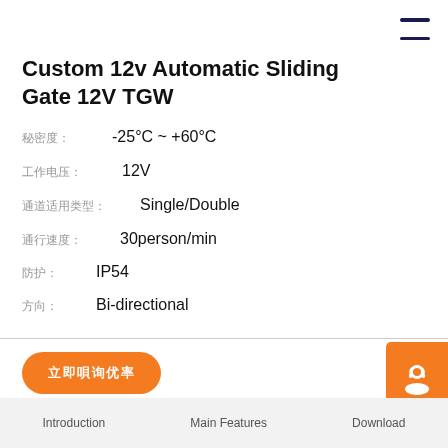Custom 12v Automatic Sliding Gate 12V TGW
工作温度: -25°C ~ +60°C
工作电压: 12V
通道适用类型: Single/Double
通行速度: 30person/min
防护: IP54
方向: Bi-directional
[Figure (other): Orange support agent icon button on right side]
Introduction  Main Features  Download